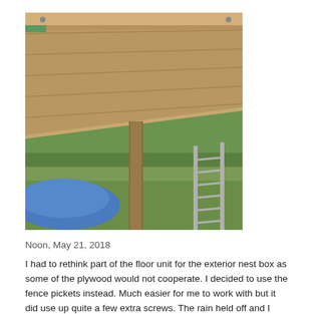[Figure (photo): Outdoor construction photo showing the underside of a wooden deck or floor structure supported by a post, with green trees and vegetation in the background, a blue tarp on the left, and a metal ladder leaning on the right.]
Noon, May 21, 2018
I had to rethink part of the floor unit for the exterior nest box as some of the plywood would not cooperate. I decided to use the fence pickets instead. Much easier for me to work with but it did use up quite a few extra screws. The rain held off and I was able to cut and fit everything, then I